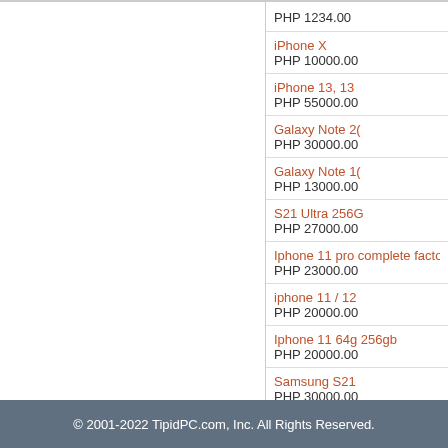Been buying 128GB samsung memory cards from them and all I can say the items are good.

Thanks!
Prev | 28 | Next
iPhone X
PHP 10000.00
iPhone 13, 13
PHP 55000.00
Galaxy Note 2(
PHP 30000.00
Galaxy Note 1(
PHP 13000.00
S21 Ultra 256G
PHP 27000.00
Iphone 11 pro complete facto
PHP 23000.00
iphone 11 / 12
PHP 20000.00
Iphone 11 64g 256gb
PHP 20000.00
Samsung S21
PHP 30000.00
© 2001-2022 TipidPC.com, Inc. All Rights Reserved.